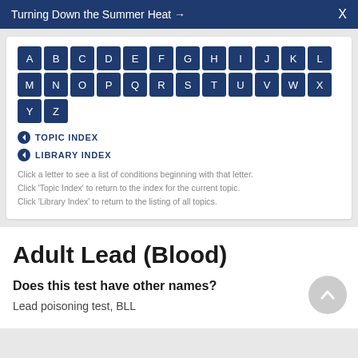Turning Down the Summer Heat →  X
[Figure (other): Alphabet navigation grid with letters A-Z in dark blue square buttons, arranged in two rows]
TOPIC INDEX
LIBRARY INDEX
Click a letter to see a list of conditions beginning with that letter.
Click 'Topic Index' to return to the index for the current topic.
Click 'Library Index' to return to the listing of all topics.
Adult Lead (Blood)
Does this test have other names?
Lead poisoning test, BLL